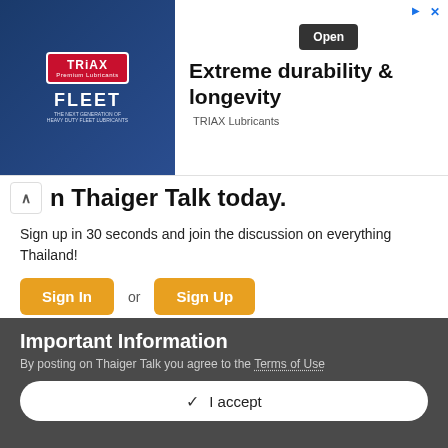[Figure (screenshot): TRIAX Fleet lubricants advertisement banner with logo, product image, and 'Extreme durability & longevity' headline]
n Thaiger Talk today.
Sign up in 30 seconds and join the discussion on everything Thailand!
Sign In or Sign Up
Sign in with Facebook
Sign In With Apple
Important Information
By posting on Thaiger Talk you agree to the Terms of Use
✓  I accept